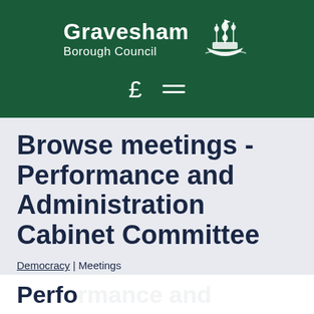Gravesham Borough Council
Browse meetings - Performance and Administration Cabinet Committee
Democracy | Meetings
Performance and...